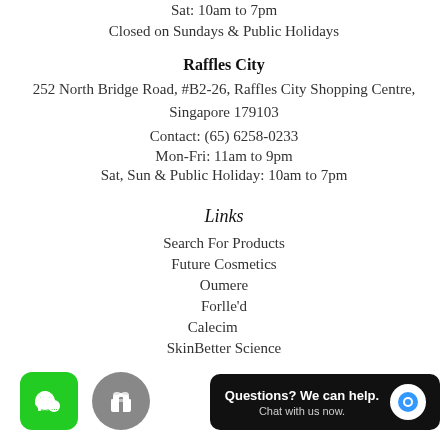Sat: 10am to 7pm
Closed on Sundays & Public Holidays
Raffles City
252 North Bridge Road, #B2-26, Raffles City Shopping Centre, Singapore 179103
Contact: (65) 6258-0233
Mon-Fri: 11am to 9pm
Sat, Sun & Public Holiday: 10am to 7pm
Links
Search For Products
Future Cosmetics
Oumere
Forlle'd
Calecim
SkinBetter Science